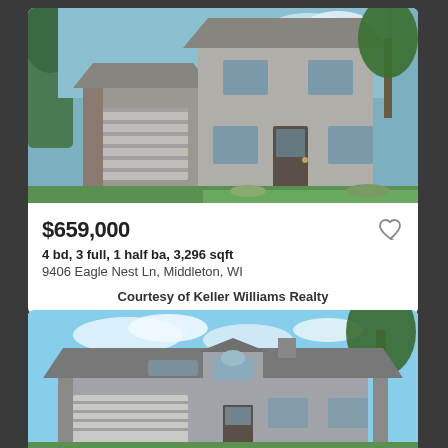[Figure (photo): Two-story house with attached two-car garage, brick and siding exterior, green lawn, trees and landscaping]
$659,000
4 bd, 3 full, 1 half ba, 3,296 sqft
9406 Eagle Nest Ln, Middleton, WI
Courtesy of Keller Williams Realty
[Figure (photo): Ranch-style house with attached two-car garage, gray siding and stone exterior, blue sky with clouds, trees]